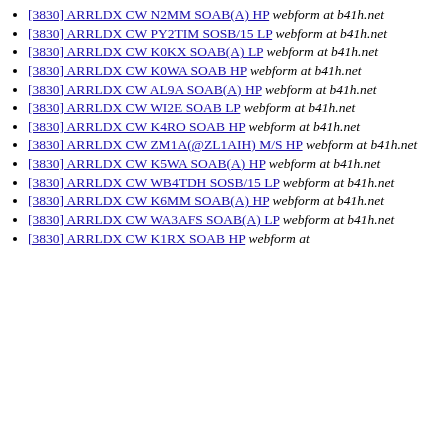[3830] ARRLDX CW N2MM SOAB(A) HP  webform at b41h.net
[3830] ARRLDX CW PY2TIM SOSB/15 LP  webform at b41h.net
[3830] ARRLDX CW K0KX SOAB(A) LP  webform at b41h.net
[3830] ARRLDX CW K0WA SOAB HP  webform at b41h.net
[3830] ARRLDX CW AL9A SOAB(A) HP  webform at b41h.net
[3830] ARRLDX CW WI2E SOAB LP  webform at b41h.net
[3830] ARRLDX CW K4RO SOAB HP  webform at b41h.net
[3830] ARRLDX CW ZM1A(@ZL1AIH) M/S HP  webform at b41h.net
[3830] ARRLDX CW K5WA SOAB(A) HP  webform at b41h.net
[3830] ARRLDX CW WB4TDH SOSB/15 LP  webform at b41h.net
[3830] ARRLDX CW K6MM SOAB(A) HP  webform at b41h.net
[3830] ARRLDX CW WA3AFS SOAB(A) LP  webform at b41h.net
[3830] ARRLDX CW K1RX SOAB HP  webform at